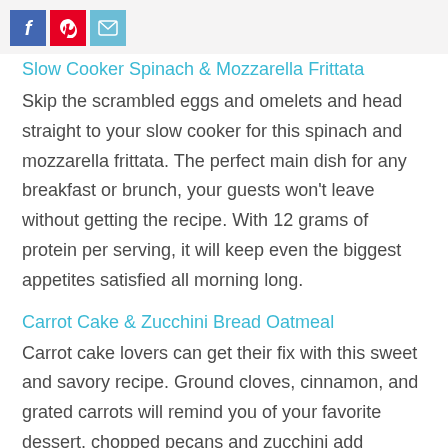Social share buttons: Facebook, Pinterest, Email
Slow Cooker Spinach & Mozzarella Frittata
Skip the scrambled eggs and omelets and head straight to your slow cooker for this spinach and mozzarella frittata. The perfect main dish for any breakfast or brunch, your guests won't leave without getting the recipe. With 12 grams of protein per serving, it will keep even the biggest appetites satisfied all morning long.
Carrot Cake & Zucchini Bread Oatmeal
Carrot cake lovers can get their fix with this sweet and savory recipe. Ground cloves, cinnamon, and grated carrots will remind you of your favorite dessert, chopped pecans and zucchini add texture, and brown sugar adds just